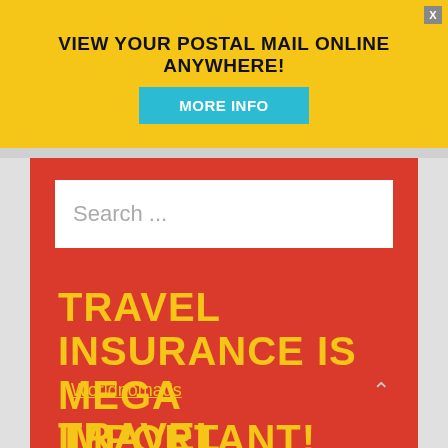VIEW YOUR POSTAL MAIL ONLINE ANYWHERE!
MORE INFO
Search ...
TRAVEL INSURANCE IS MEGA IMPORTANT!
› Worldnomads
TRAVEL BLOGGING